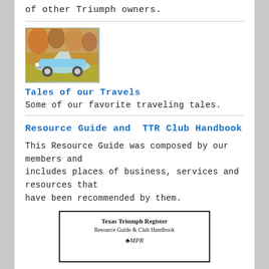of other Triumph owners.
[Figure (photo): A vintage light blue Triumph roadster car photographed outdoors with autumn foliage in the background.]
Tales of our Travels
Some of our favorite traveling tales.
Resource Guide and  TTR Club Handbook
This Resource Guide was composed by our members and includes places of business, services and resources that have been recommended by them.
[Figure (other): Cover of the Texas Triumph Register Resource Guide & Club Handbook booklet with a logo symbol at the bottom.]